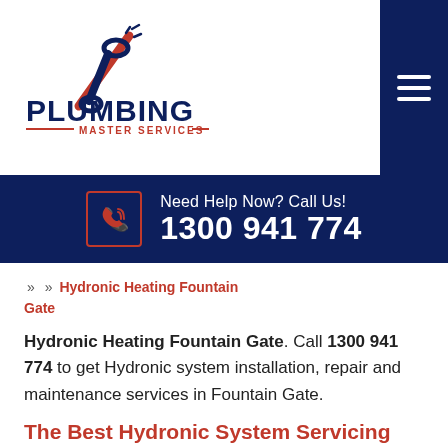[Figure (logo): Plumbing Master Services logo with wrench and screwdriver icon and text 'PLUMBING MASTER SERVICES']
Need Help Now? Call Us! 1300 941 774
» » Hydronic Heating Fountain Gate
Hydronic Heating Fountain Gate. Call 1300 941 774 to get Hydronic system installation, repair and maintenance services in Fountain Gate.
The Best Hydronic System Servicing...